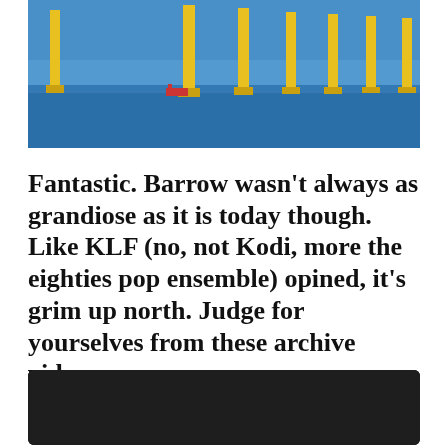[Figure (photo): Offshore wind farm with yellow turbine towers in calm blue sea under clear blue sky, with a small red vessel visible]
Fantastic. Barrow wasn't always as grandiose as it is today though. Like KLF (no, not Kodi, more the eighties pop ensemble) opined, it's grim up north. Judge for yourselves from these archive videos.
[Figure (screenshot): Video thumbnail showing Royal Navy logo and title 'Barrow-in-Furness 1970' on dark background]